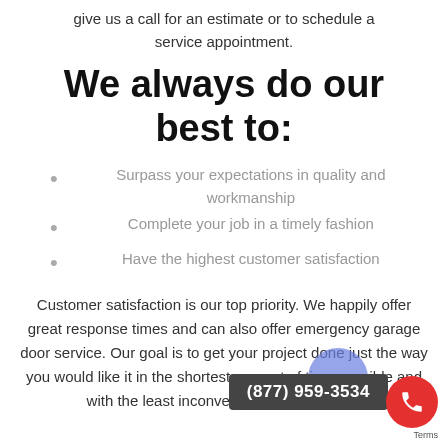give us a call for an estimate or to schedule a service appointment.
We always do our best to:
Surpass your expectations in quality and workmanship
Complete your job in a timely fashion
Have the highest customer satisfaction
Customer satisfaction is our top priority. We happily offer great response times and can also offer emergency garage door service. Our goal is to get your project done just the way you would like it in the shortest amount of time possible and with the least inconvenience and difficulty